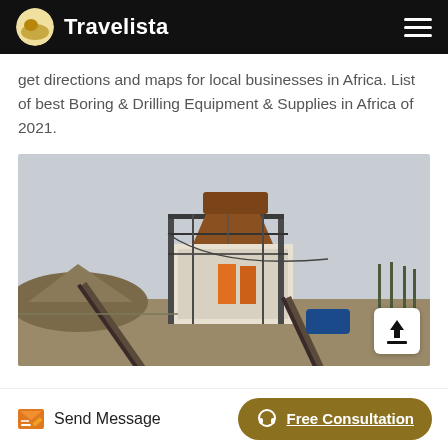Travelista
get directions and maps for local businesses in Africa. List of best Boring & Drilling Equipment & Supplies in Africa of 2021.
[Figure (photo): Industrial drilling/mining equipment facility with conveyor belts and heavy machinery on a flat dirt lot, overcast sky in background.]
Send Message | Free Consultation